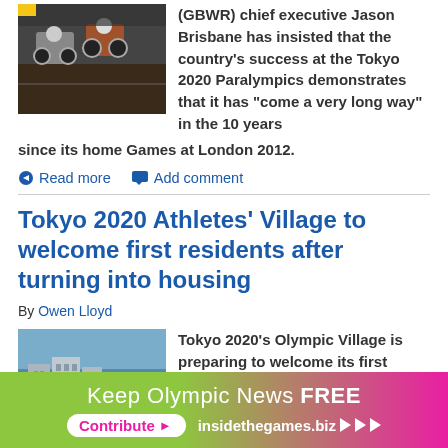[Figure (photo): Wheelchair rugby athletes competing in a gymnasium setting]
(GBWR) chief executive Jason Brisbane has insisted that the country's success at the Tokyo 2020 Paralympics demonstrates that it has "come a very long way" in the 10 years since its home Games at London 2012.
Read more  Add comment
Tokyo 2020 Athletes' Village to welcome first residents after turning into housing
By Owen Lloyd
[Figure (photo): Aerial view of Tokyo Olympic Village buildings near waterfront]
Tokyo 2020's Olympic Village is preparing to welcome its first permanent residents as the Games continues to deliver on its legacy plan.
Read more  Add comment
Keep Olympic News FREE Contribute > insidethegames.biz